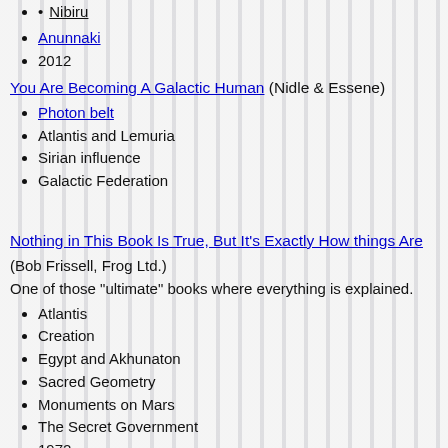Nibiru
Anunnaki
2012
You Are Becoming A Galactic Human (Nidle & Essene)
Photon belt
Atlantis and Lemuria
Sirian influence
Galactic Federation
Nothing in This Book Is True, But It's Exactly How things Are
(Bob Frissell, Frog Ltd.)
One of those "ultimate" books where everything is explained.
Atlantis
Creation
Egypt and Akhunaton
Sacred Geometry
Monuments on Mars
The Secret Government
1972